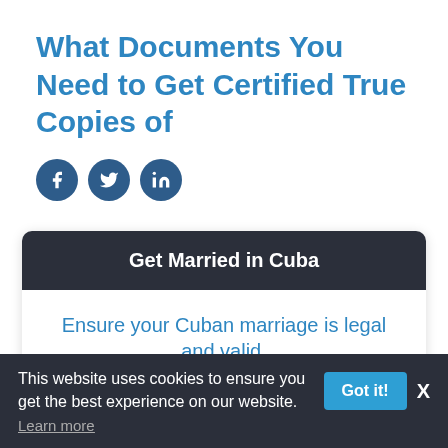What Documents You Need to Get Certified True Copies of
[Figure (other): Social media share icons: Facebook, Twitter, LinkedIn]
Get Married in Cuba
Ensure your Cuban marriage is legal and valid.
We take the headaches out of this complicated process and make sure you start and finish in the right place –
This website uses cookies to ensure you get the best experience on our website.
Learn more